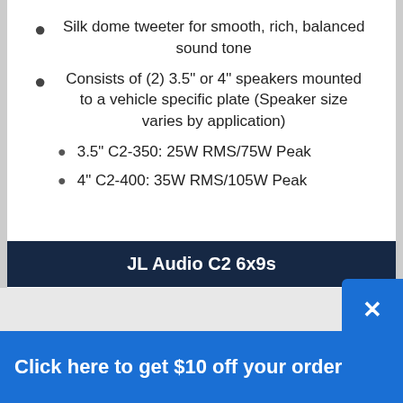Silk dome tweeter for smooth, rich, balanced sound tone
Consists of (2) 3.5" or 4" speakers mounted to a vehicle specific plate (Speaker size varies by application)
3.5" C2-350: 25W RMS/75W Peak
4" C2-400: 35W RMS/105W Peak
JL Audio C2 6x9s
Click here to get $10 off your order